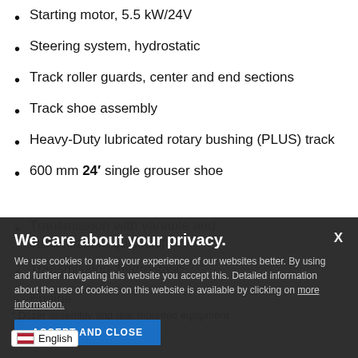Starting motor, 5.5 kW/24V
Steering system, hydrostatic
Track roller guards, center and end sections
Track shoe assembly
Heavy-Duty lubricated rotary bushing (PLUS) track
600 mm 24′ single grouser shoe
Transmission with variable and customizable quickshift
Transmission, hydrostatic
Engine
Transmission
We care about your privacy. We use cookies to make your experience of our websites better. By using and further navigating this website you accept this. Detailed information about the use of cookies on this website is available by clicking on more information.
* Dozer assembly and rear mounted equipment
e machine standard